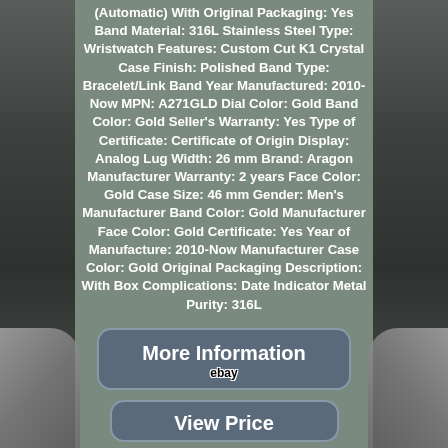(Automatic) With Original Packaging: Yes Band Material: 316L Stainless Steel Type: Wristwatch Features: Custom Cut K1 Crystal Case Finish: Polished Band Type: Bracelet/Link Band Year Manufactured: 2010-Now MPN: A271GLD Dial Color: Gold Band Color: Gold Seller's Warranty: Yes Type of Certificate: Certificate of Origin Display: Analog Lug Width: 26 mm Brand: Aragon Manufacturer Warranty: 2 years Face Color: Gold Case Size: 46 mm Gender: Men's Manufacturer Band Color: Gold Manufacturer Face Color: Gold Certificate: Yes Year of Manufacture: 2010-Now Manufacturer Case Color: Gold Original Packaging Description: With Box Complications: Date Indicator Metal Purity: 316L
[Figure (other): Button with text 'More Information' and eBay logo]
[Figure (other): Button with text 'View Price']